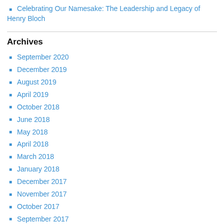Celebrating Our Namesake: The Leadership and Legacy of Henry Bloch
Archives
September 2020
December 2019
August 2019
April 2019
October 2018
June 2018
May 2018
April 2018
March 2018
January 2018
December 2017
November 2017
October 2017
September 2017
August 2017
July 2017
June 2017
May 2017